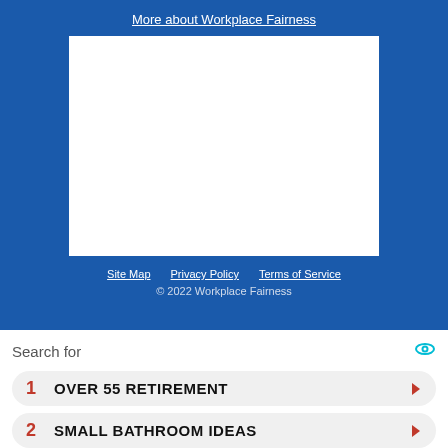More about Workplace Fairness
[Figure (other): White blank rectangle placeholder on blue background]
Site Map   Privacy Policy   Terms of Service
© 2022 Workplace Fairness
Search for
1  OVER 55 RETIREMENT
2  SMALL BATHROOM IDEAS